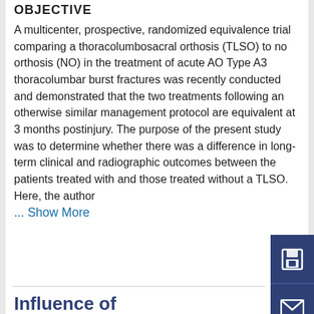OBJECTIVE
A multicenter, prospective, randomized equivalence trial comparing a thoracolumbosacral orthosis (TLSO) to no orthosis (NO) in the treatment of acute AO Type A3 thoracolumbar burst fractures was recently conducted and demonstrated that the two treatments following an otherwise similar management protocol are equivalent at 3 months postinjury. The purpose of the present study was to determine whether there was a difference in long-term clinical and radiographic outcomes between the patients treated with and those treated without a TLSO. Here, the author
... Show More
Influence of postoperative sagittal